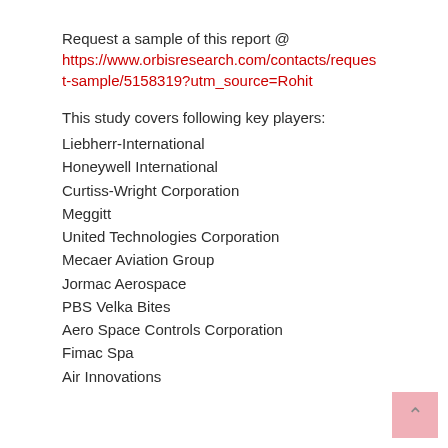Request a sample of this report @
https://www.orbisresearch.com/contacts/request-sample/5158319?utm_source=Rohit
This study covers following key players:
Liebherr-International
Honeywell International
Curtiss-Wright Corporation
Meggitt
United Technologies Corporation
Mecaer Aviation Group
Jormac Aerospace
PBS Velka Bites
Aero Space Controls Corporation
Fimac Spa
Air Innovations